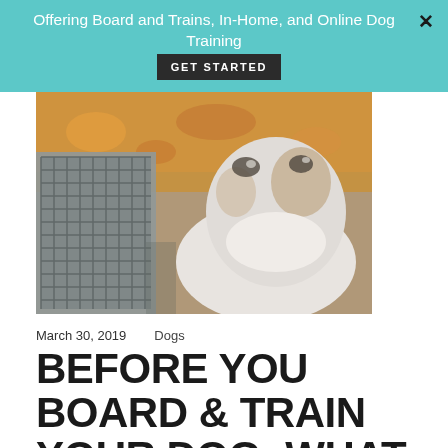Offering Board and Trains, In-Home, and Online Dog Training  GET STARTED
[Figure (photo): A dog looking at the camera next to a grey crate, with an orange/floral blanket behind it]
March 30, 2019    Dogs
BEFORE YOU BOARD & TRAIN YOUR DOG: WHAT TO EXPECT